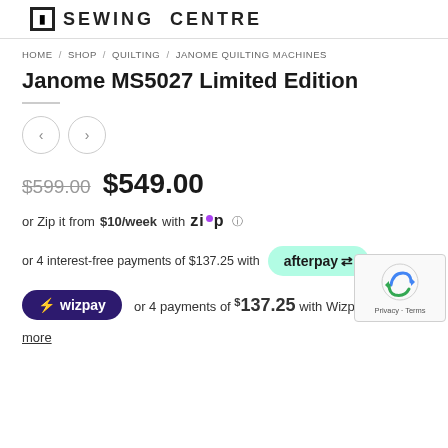SEWING CENTRE
HOME / SHOP / QUILTING / JANOME QUILTING MACHINES
Janome MS5027 Limited Edition
$599.00  $549.00
or Zip it from $10/week with Zip
or 4 interest-free payments of $137.25 with afterpay
or 4 payments of $137.25 with Wizpay
more